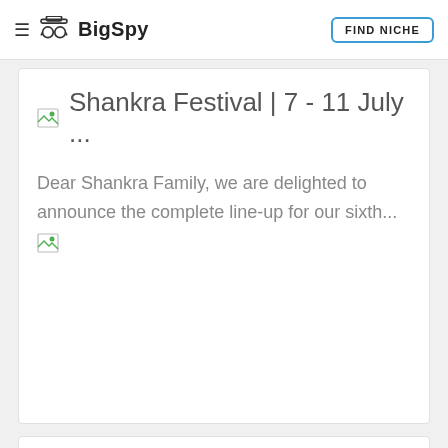BigSpy | FIND NICHE
Shankra Festival | 7 - 11 July ...
Dear Shankra Family, we are delighted to announce the complete line-up for our sixth...
[Figure (photo): Broken/unloaded image placeholder]
Costume Closets/Cabinets by...